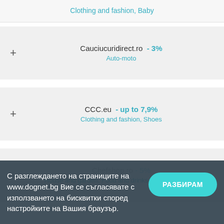Clothing and fashion, Baby
Cauciucuridirect.ro  - 3%
Auto-moto
CCC.eu - up to 7,9%
Clothing and fashion, Shoes
Chefshop.ro - 5%
House and garden, Food and drinks, Cooking kitchen
С разглеждането на страниците на www.dognet.bg Вие се съгласявате с използването на бисквитки според настройките на Вашия браузър.
РАЗБИРАМ